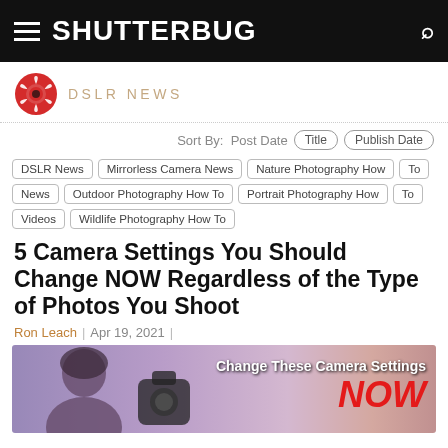SHUTTERBUG
DSLR NEWS
Sort By: Post Date  Title  Publish Date
DSLR News
Mirrorless Camera News
Nature Photography How To
News
Outdoor Photography How To
Portrait Photography How To
Videos
Wildlife Photography How To
5 Camera Settings You Should Change NOW Regardless of the Type of Photos You Shoot
Ron Leach  |  Apr 19, 2021  |
[Figure (photo): Thumbnail image of a woman with text overlay: 'Change These Camera Settings NOW' in white and red]